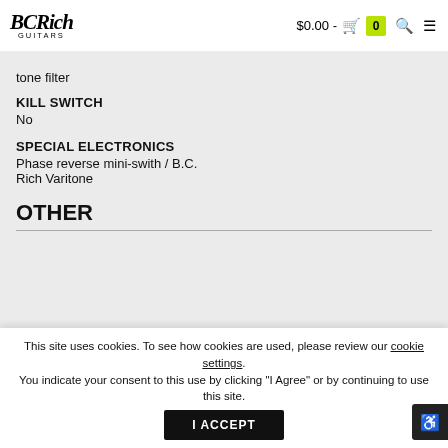BC Rich Guitars | $0.00 - 0
tone filter
KILL SWITCH
No
SPECIAL ELECTRONICS
Phase reverse mini-swith / B.C. Rich Varitone
OTHER
This site uses cookies. To see how cookies are used, please review our cookie settings. You indicate your consent to this use by clicking "I Agree" or by continuing to use this site.
I ACCEPT